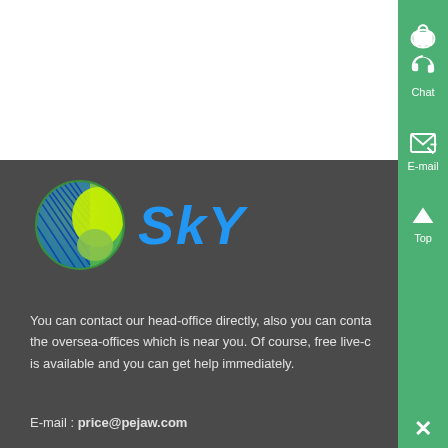[Figure (logo): SKY company logo with globe graphic and blue SKY text]
You can contact our head-office directly, also you can contact the oversea-offices which is near you. Of course, free live-chat is available and you can get help immediately.
E-mail : price@pejaw.com